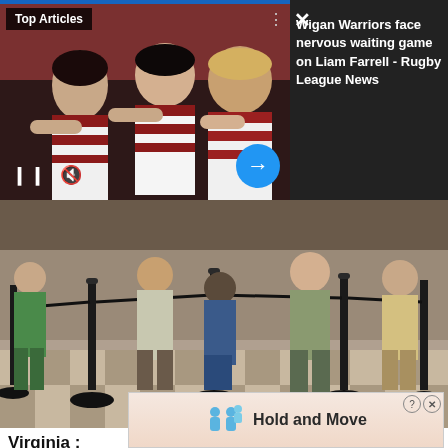[Figure (photo): Top Articles card with sports photo of rugby/football players celebrating in striped jerseys, dark stadium background. Right panel shows news headline text on dark background. Blue arrow button and media controls visible.]
Top Articles
Wigan Warriors face nervous waiting game on Liam Farrell - Rugby League News
[Figure (photo): People standing in queue line with black stanchion barriers on a checkered tile floor in what appears to be an indoor venue.]
Virginia : New Policy Helps 90% of Drivers Who Are Overpaying for Insurance
[Figure (screenshot): Ad overlay showing 'Hold and Move' with cartoon figures icon, close button X and question mark circle.]